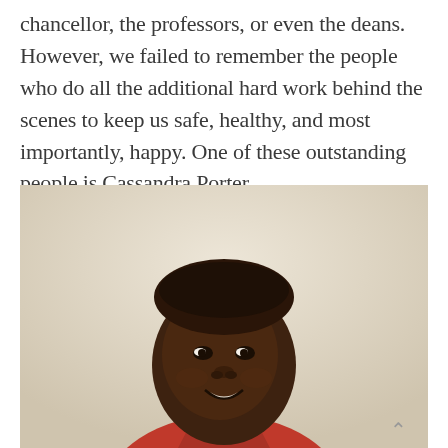chancellor, the professors, or even the deans. However, we failed to remember the people who do all the additional hard work behind the scenes to keep us safe, healthy, and most importantly, happy. One of these outstanding people is Cassandra Porter.
[Figure (photo): Portrait photo of Cassandra Porter, a woman wearing a red polo shirt, smiling at the camera against a light beige/cream wall background.]